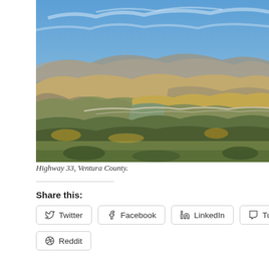[Figure (photo): Aerial/elevated landscape photograph of Highway 33 in Ventura County, California. Shows rugged chaparral-covered hills and ridges, dry scrubland, golden hillsides, a winding road, and blue sky with wispy clouds in the background, with distant mountain ranges.]
Highway 33, Ventura County.
Share this:
Twitter
Facebook
LinkedIn
Tumblr
Reddit